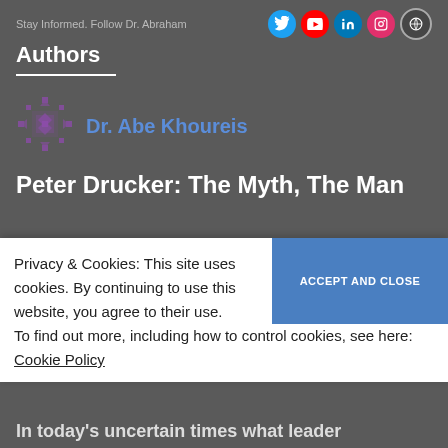Stay Informed. Follow Dr. Abraham
Authors
Dr. Abe Khoureis
Peter Drucker: The Myth, The Man
Privacy & Cookies: This site uses cookies. By continuing to use this website, you agree to their use. To find out more, including how to control cookies, see here: Cookie Policy
In today's uncertain times what leader